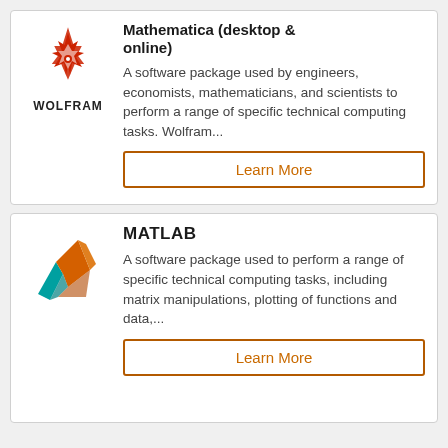[Figure (logo): Wolfram logo: red geometric star flower symbol above the text WOLFRAM in bold black capitals]
Mathematica (desktop & online)
A software package used by engineers, economists, mathematicians, and scientists to perform a range of specific technical computing tasks. Wolfram...
Learn More
[Figure (logo): MATLAB logo: stylized 3D peak shape with orange/amber and teal/cyan colors]
MATLAB
A software package used to perform a range of specific technical computing tasks, including matrix manipulations, plotting of functions and data,...
Learn More